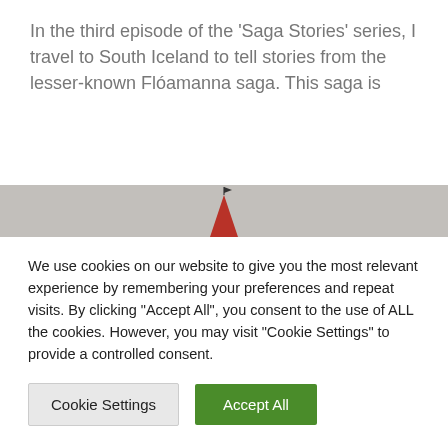In the third episode of the 'Saga Stories' series, I travel to South Iceland to tell stories from the lesser-known Flóamanna saga. This saga is
[Figure (photo): Partial photograph of a red pointed church steeple/spire with a small flag on top, set against a light grey overcast sky. The bottom of the steeple is cut off at the image boundary.]
We use cookies on our website to give you the most relevant experience by remembering your preferences and repeat visits. By clicking "Accept All", you consent to the use of ALL the cookies. However, you may visit "Cookie Settings" to provide a controlled consent.